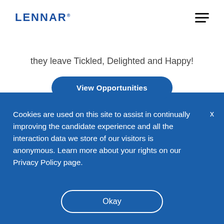LENNAR
they leave Tickled, Delighted and Happy!
View Opportunities
Cookies are used on this site to assist in continually improving the candidate experience and all the interaction data we store of our visitors is anonymous. Learn more about your rights on our Privacy Policy page.
Okay